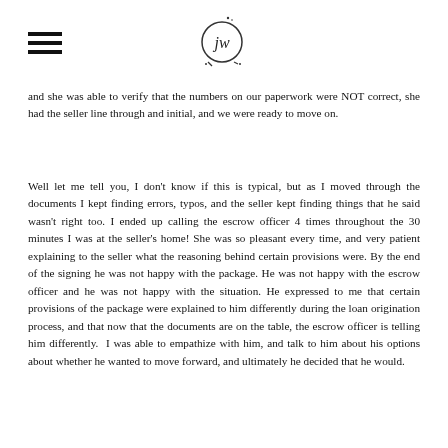[hamburger menu icon] [JW logo circle]
and she was able to verify that the numbers on our paperwork were NOT correct, she had the seller line through and initial, and we were ready to move on.
Well let me tell you, I don't know if this is typical, but as I moved through the documents I kept finding errors, typos, and the seller kept finding things that he said wasn't right too. I ended up calling the escrow officer 4 times throughout the 30 minutes I was at the seller's home! She was so pleasant every time, and very patient explaining to the seller what the reasoning behind certain provisions were. By the end of the signing he was not happy with the package. He was not happy with the escrow officer and he was not happy with the situation. He expressed to me that certain provisions of the package were explained to him differently during the loan origination process, and that now that the documents are on the table, the escrow officer is telling him differently. I was able to empathize with him, and talk to him about his options about whether he wanted to move forward, and ultimately he decided that he would.